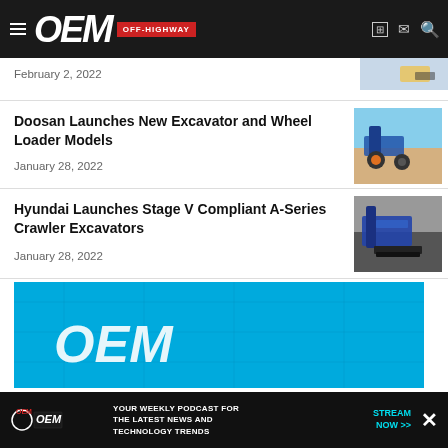OEM OFF-HIGHWAY
February 2, 2022
Doosan Launches New Excavator and Wheel Loader Models
January 28, 2022
Hyundai Launches Stage V Compliant A-Series Crawler Excavators
January 28, 2022
[Figure (screenshot): OEM Off-Highway advertisement banner with circuit board background]
OEM - YOUR WEEKLY PODCAST FOR THE LATEST NEWS AND TECHNOLOGY TRENDS - STREAM NOW